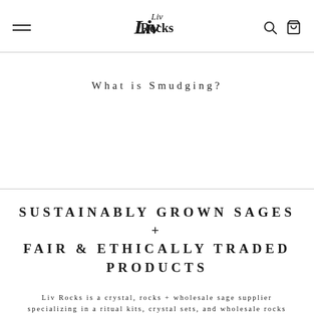Liv Rocks [logo with hamburger menu, search, and cart icons]
What is Smudging?
SUSTAINABLY GROWN SAGES + FAIR & ETHICALLY TRADED PRODUCTS
Liv Rocks is a crystal, rocks + wholesale sage supplier specializing in a ritual kits, crystal sets, and wholesale rocks